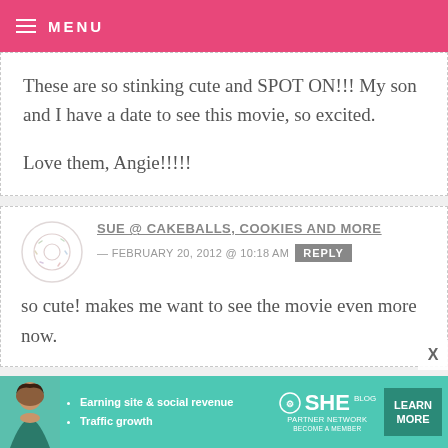MENU
These are so stinking cute and SPOT ON!!! My son and I have a date to see this movie, so excited.

Love them, Angie!!!!!
SUE @ CAKEBALLS, COOKIES AND MORE — FEBRUARY 20, 2012 @ 10:18 AM REPLY

so cute! makes me want to see the movie even more now.
[Figure (infographic): SHE Partner Network advertisement banner with woman photo, bullet points about earning site & social revenue and traffic growth, SHE logo, and Learn More button]